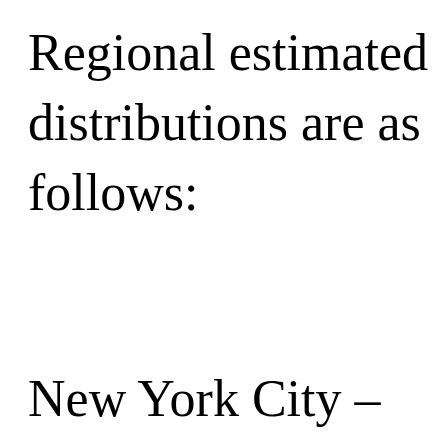Regional estimated distributions are as follows:
New York City –